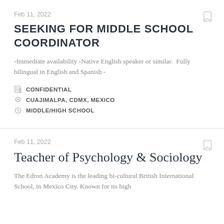Feb 11, 2022
SEEKING FOR MIDDLE SCHOOL COORDINATOR
-Immediate availability -Native English speaker or similar.  Fully bilingual in English and Spanish -
CONFIDENTIAL
CUAJIMALPA, CDMX, MEXICO
MIDDLE/HIGH SCHOOL
Feb 11, 2022
Teacher of Psychology & Sociology
The Edron Academy is the leading bi-cultural British International School, in Mexico City. Known for its high